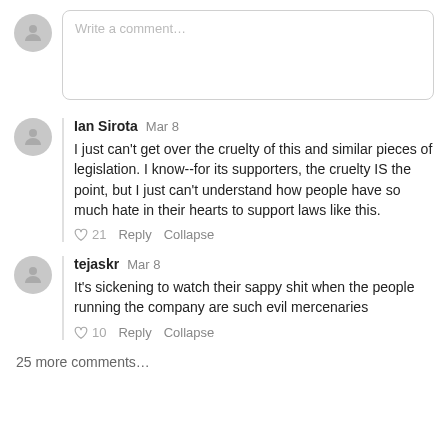[Figure (other): Comment input box with avatar placeholder and 'Write a comment...' placeholder text]
Ian Sirota   Mar 8
I just can't get over the cruelty of this and similar pieces of legislation. I know--for its supporters, the cruelty IS the point, but I just can't understand how people have so much hate in their hearts to support laws like this.
♡ 21   Reply   Collapse
tejaskr   Mar 8
It's sickening to watch their sappy shit when the people running the company are such evil mercenaries
♡ 10   Reply   Collapse
25 more comments...